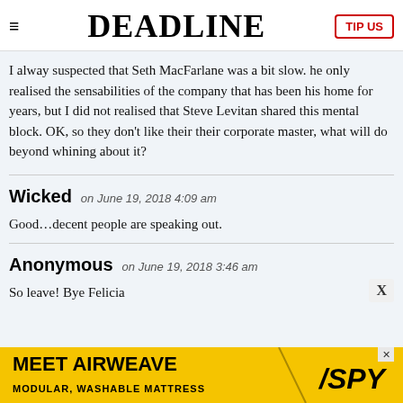≡  DEADLINE  TIP US
I alway suspected that Seth MacFarlane was a bit slow. he only realised the sensabilities of the company that has been his home for years, but I did not realised that Steve Levitan shared this mental block. OK, so they don't like their their corporate master, what will do beyond whining about it?
Wicked on June 19, 2018 4:09 am
Good…decent people are speaking out.
Anonymous on June 19, 2018 3:46 am
So leave! Bye Felicia
[Figure (other): Advertisement banner for MEET AIRWEAVE MODULAR, WASHABLE MATTRESS with SPY logo on yellow background]